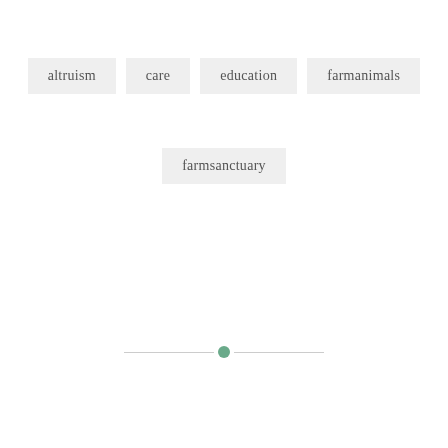altruism
care
education
farmanimals
farmsanctuary
PREVIOUS POST
Tour De Fleece 2015
NEXT POST
Solace project